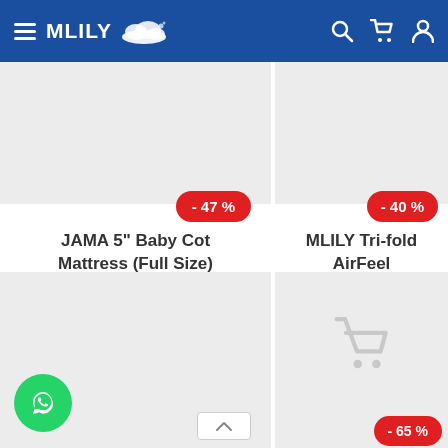MLILY
[Figure (screenshot): Product card: JAMA 5" Baby Cot Mattress (Full Size) with -47% discount badge, original price RM549.00, sale price RM289.00]
[Figure (screenshot): Product card: MLILY Tri-fold AirFeel Memory Foam Topper with -40% discount badge, original price RM499.00, sale price RM299.00]
[Figure (screenshot): Product card placeholder (bottom left) with cart icon and -55% discount badge]
[Figure (screenshot): Product card placeholder (bottom right) with cart icon and -65% discount badge]